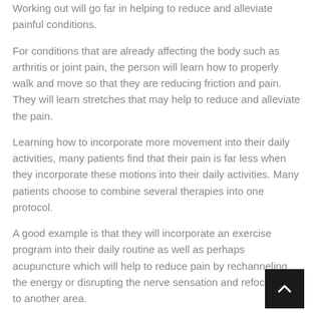Working out will go far in helping to reduce and alleviate painful conditions.
For conditions that are already affecting the body such as arthritis or joint pain, the person will learn how to properly walk and move so that they are reducing friction and pain. They will learn stretches that may help to reduce and alleviate the pain.
Learning how to incorporate more movement into their daily activities, many patients find that their pain is far less when they incorporate these motions into their daily activities. Many patients choose to combine several therapies into one protocol.
A good example is that they will incorporate an exercise program into their daily routine as well as perhaps acupuncture which will help to reduce pain by rechanneling the energy or disrupting the nerve sensation and refocusing it to another area.